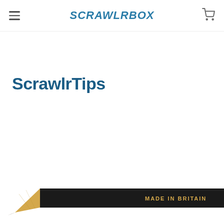ScrawlrBox
ScrawlrTips
[Figure (photo): A close-up photograph of a sharp black colored pencil with gold text reading 'MADE IN BRITAIN', showing the pencil tip pointing to the left, at the bottom of the page]